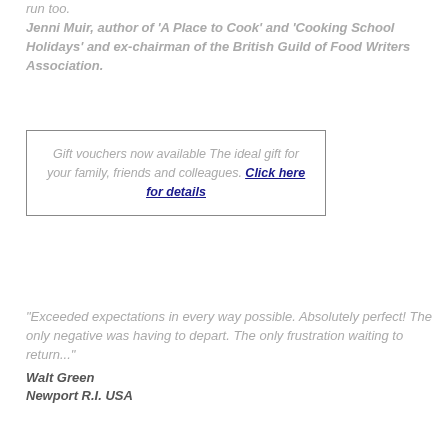run too.
Jenni Muir, author of 'A Place to Cook' and 'Cooking School Holidays' and ex-chairman of the British Guild of Food Writers Association.
Gift vouchers now available The ideal gift for your family, friends and colleagues. Click here for details
"Exceeded expectations in every way possible. Absolutely perfect! The only negative was having to depart. The only frustration waiting to return..."
Walt Green
Newport R.I. USA